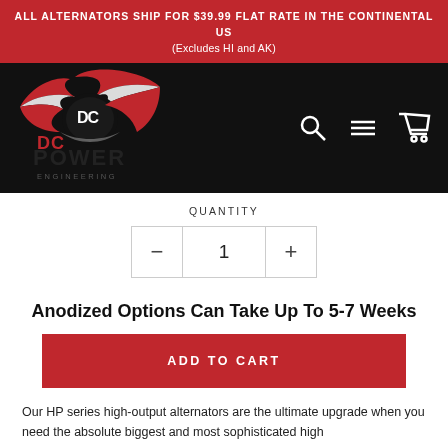ALL ALTERNATORS SHIP FOR $39.99 FLAT RATE IN THE CONTINENTAL US
(Excludes HI and AK)
[Figure (logo): DC Power Engineering logo — a red and white stylized eagle/wing mark above the text 'DC Power Engineering' in black with red accents]
QUANTITY
− 1 +
Anodized Options Can Take Up To 5-7 Weeks
ADD TO CART
Our HP series high-output alternators are the ultimate upgrade when you need the absolute biggest and most sophisticated high